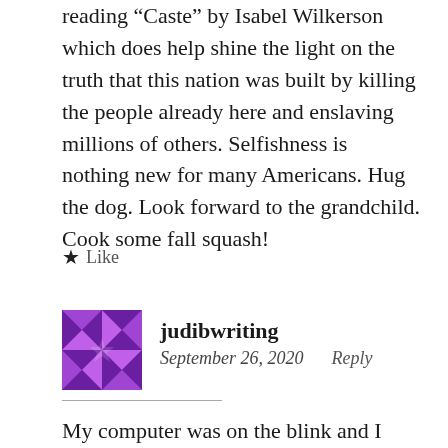reading “Caste” by Isabel Wilkerson which does help shine the light on the truth that this nation was built by killing the people already here and enslaving millions of others. Selfishness is nothing new for many Americans. Hug the dog. Look forward to the grandchild. Cook some fall squash!
★ Like
[Figure (logo): Purple geometric quilt-pattern avatar for judibwriting]
judibwriting
September 26, 2020   Reply
My computer was on the blink and I could read